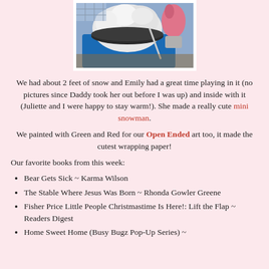[Figure (photo): Child scooping snow into a blue container outdoors, wearing a pink glove.]
We had about 2 feet of snow and Emily had a great time playing in it (no pictures since Daddy took her out before I was up) and inside with it (Juliette and I were happy to stay warm!). She made a really cute mini snowman.
We painted with Green and Red for our Open Ended art too, it made the cutest wrapping paper!
Our favorite books from this week:
Bear Gets Sick ~ Karma Wilson
The Stable Where Jesus Was Born ~ Rhonda Gowler Greene
Fisher Price Little People Christmastime Is Here!: Lift the Flap ~ Readers Digest
Home Sweet Home (Busy Bugz Pop-Up Series) ~